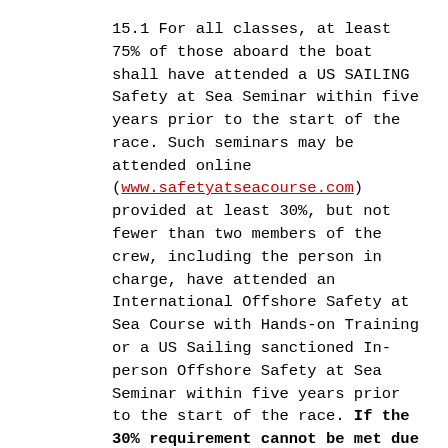15.1 For all classes, at least 75% of those aboard the boat shall have attended a US SAILING Safety at Sea Seminar within five years prior to the start of the race. Such seminars may be attended online (www.safetyatseacourse.com) provided at least 30%, but not fewer than two members of the crew, including the person in charge, have attended an International Offshore Safety at Sea Course with Hands-on Training or a US Sailing sanctioned In-person Offshore Safety at Sea Seminar within five years prior to the start of the race. If the 30% requirement cannot be met due to a “Safety at Sea with hands-on training” course not being available, the requirement may be met by completing the US Sailing “Online